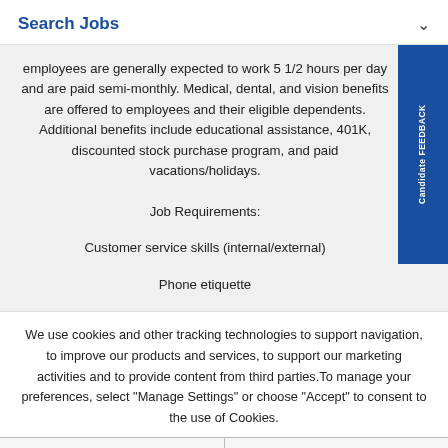Search Jobs
employees are generally expected to work 5 1/2 hours per day and are paid semi-monthly. Medical, dental, and vision benefits are offered to employees and their eligible dependents. Additional benefits include educational assistance, 401K, discounted stock purchase program, and paid vacations/holidays.
Job Requirements:
Customer service skills (internal/external)
Phone etiquette
We use cookies and other tracking technologies to support navigation, to improve our products and services, to support our marketing activities and to provide content from third parties.To manage your preferences, select "Manage Settings" or choose "Accept" to consent to the use of Cookies.
Accept | Manage Settings